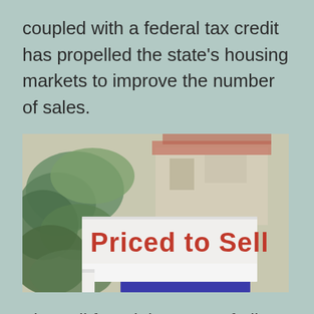coupled with a federal tax credit has propelled the state's housing markets to improve the number of sales.
[Figure (photo): A real estate sign reading 'Priced to Sell' in bold red text on a white sign board, with palm trees and a house visible in the blurred background.]
The poll found that 54% of all respondents feel states should offer tax credits, but the